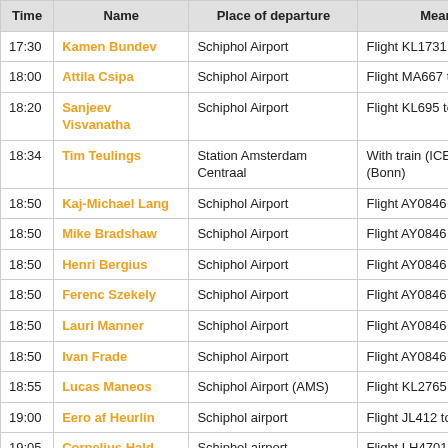| Time | Name | Place of departure | Means of transport |
| --- | --- | --- | --- |
| 17:30 | Kamen Bundev | Schiphol Airport | Flight KL1731 to Brussels |
| 18:00 | Attila Csipa | Schiphol Airport | Flight MA667 to Budapest |
| 18:20 | Sanjeev Visvanatha | Schiphol Airport | Flight KL695 to Toronto (YYZ) |
| 18:34 | Tim Teulings | Station Amsterdam Centraal | With train (ICE 227) to Germany (Bonn) |
| 18:50 | Kaj-Michael Lang | Schiphol Airport | Flight AY0846 to Helsinki |
| 18:50 | Mike Bradshaw | Schiphol Airport | Flight AY0846 to Helsinki |
| 18:50 | Henri Bergius | Schiphol Airport | Flight AY0846 to Helsinki |
| 18:50 | Ferenc Szekely | Schiphol Airport | Flight AY0846 to Helsinki |
| 18:50 | Lauri Manner | Schiphol Airport | Flight AY0846 to Helsinki |
| 18:50 | Ivan Frade | Schiphol Airport | Flight AY0846 to Helsinki |
| 18:55 | Lucas Maneos | Schiphol Airport (AMS) | Flight KL2765 to LCY |
| 19:00 | Eero af Heurlin | Schiphol airport | Flight JL412 to Tokyo Narita |
| 19:05 | Cornelius Hald | Schiphol airport | Flight LH4701 to Munich |
| 19:45 | Michael Dominic K. | Schiphol airport | Flight LO268 to Warsaw |
| 20:00 | Carsten Munk | Schiphol airport | Flight KL 1369 to Warsaw |